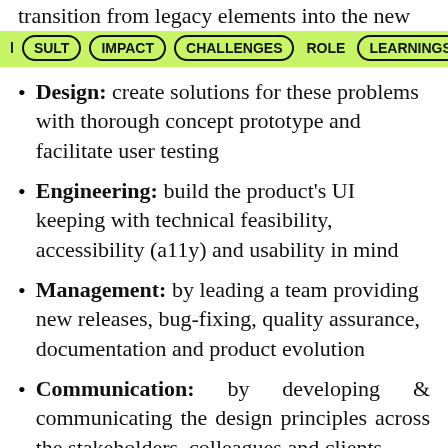transition from legacy elements into the new
RESULT | IMPACT | CHALLENGES | ROLE | LEARNINGS
Design: create solutions for these problems with thorough concept prototype and facilitate user testing
Engineering: build the product's UI keeping with technical feasibility, accessibility (a11y) and usability in mind
Management: by leading a team providing new releases, bug-fixing, quality assurance, documentation and product evolution
Communication: by developing & communicating the design principles across the stakeholders, colleagues and clients